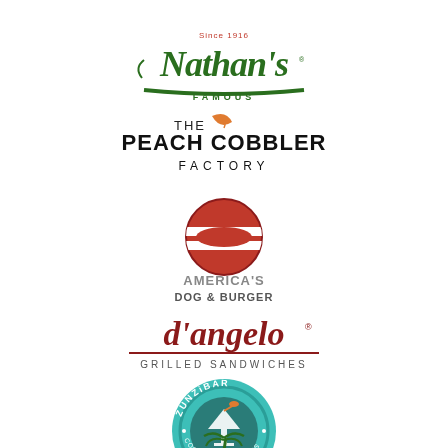[Figure (logo): Nathan's Famous logo — green cursive script on dark green underline, 'Since 1916' above, 'FAMOUS' below]
[Figure (logo): The Peach Cobbler Factory logo — black bold text with orange leaf accent]
[Figure (logo): America's Dog & Burger logo — circular red and white logo with hot dog imagery, grey text below]
[Figure (logo): d'angelo Grilled Sandwiches logo — dark red lowercase script with underline, 'GRILLED SANDWICHES' in small caps below]
[Figure (logo): Zunzibar Cocktails & Dreams logo — circular teal logo with cocktail glass, decorative border text]
[Figure (logo): Partial green palm tree logo at bottom, partially cropped]